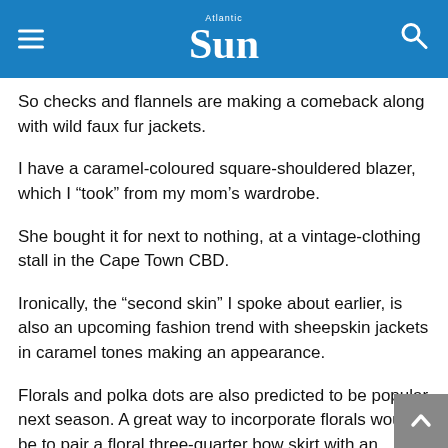Atlantic Sun
So checks and flannels are making a comeback along with wild faux fur jackets.
I have a caramel-coloured square-shouldered blazer, which I “took” from my mom’s wardrobe.
She bought it for next to nothing, at a vintage-clothing stall in the Cape Town CBD.
Ironically, the “second skin” I spoke about earlier, is also an upcoming fashion trend with sheepskin jackets in caramel tones making an appearance.
Florals and polka dots are also predicted to be popular next season. A great way to incorporate florals would be to pair a floral three-quarter bow skirt with an “Audrey Hepburn”